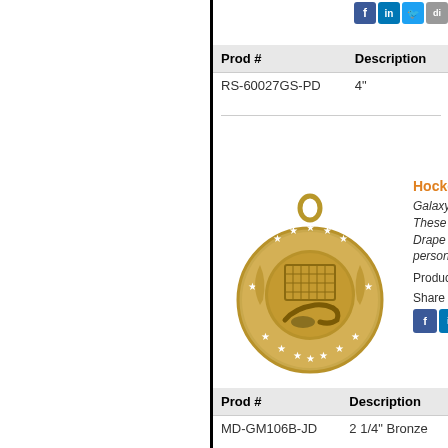| Prod # | Description |
| --- | --- |
| RS-60027GS-PD | 4" |
[Figure (photo): Gold hockey Galaxy series medal with stars around rim and hockey stick and puck design in center]
Hockey Galaxy
Galaxy Series awards. These medallions available. Drape or Keychain. personalize this
Production lea...
Share this Awa...
| Prod # | Description |
| --- | --- |
| MD-GM106B-JD | 2 1/4" Bronze |
| MD-GM106G-JD | 2 1/4" Gold |
| MD-GM106S-JD | 2 1/4" Silver |